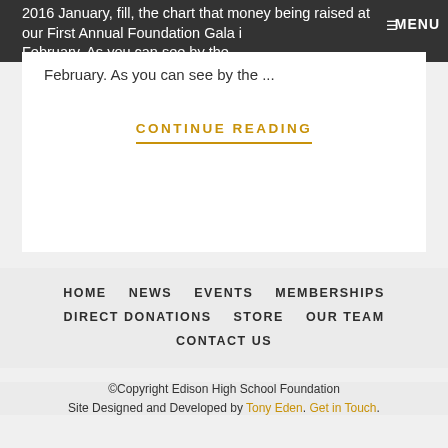2016 January, fill, the chart that money being raised at our First Annual Foundation Gala in February. As you can see by the ...
CONTINUE READING
HOME  NEWS  EVENTS  MEMBERSHIPS  DIRECT DONATIONS  STORE  OUR TEAM  CONTACT US
©Copyright Edison High School Foundation
Site Designed and Developed by Tony Eden. Get in Touch.